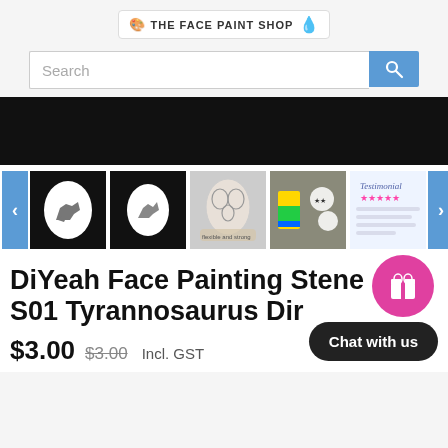[Figure (logo): The Face Paint Shop logo with colorful paint splash]
[Figure (screenshot): Search bar with magnifying glass button]
[Figure (photo): Black banner/hero image area]
[Figure (photo): Thumbnail gallery of face painting stencil product images with left/right navigation arrows. Five thumbnails shown: T-rex stencil on white oval, dinosaur stencil on black, hand holding stencil, colorful painting demo, testimonial card]
DiYeah Face Painting Stencil S01 Tyrannosaurus Di[nosaur]
$3.00  $3.00  Incl. GST